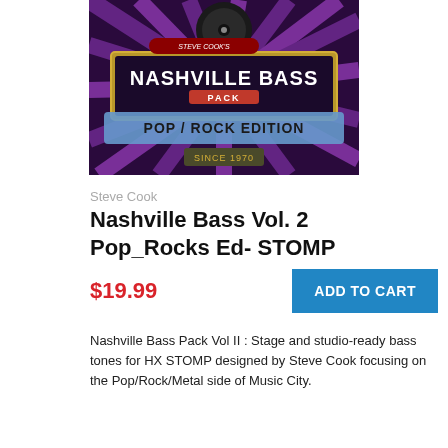[Figure (illustration): Steve Cook's Nashville Bass Pack - Pop / Rock Edition Since 1970 product cover art with purple/black starburst background, vinyl record graphic, and banner text]
Steve Cook
Nashville Bass Vol. 2 Pop_Rocks Ed- STOMP
$19.99
ADD TO CART
Nashville Bass Pack Vol II : Stage and studio-ready bass tones for HX STOMP designed by Steve Cook focusing on the Pop/Rock/Metal side of Music City.